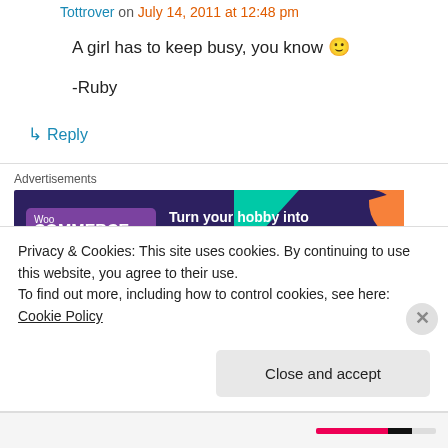Tottrover on July 14, 2011 at 12:48 pm
A girl has to keep busy, you know 🙂
-Ruby
↳ Reply
Advertisements
[Figure (screenshot): WooCommerce advertisement banner: purple background with 'Turn your hobby into a business in 8 steps']
Kate on July 14, 2011 at 1:21 pm
Privacy & Cookies: This site uses cookies. By continuing to use this website, you agree to their use.
To find out more, including how to control cookies, see here: Cookie Policy